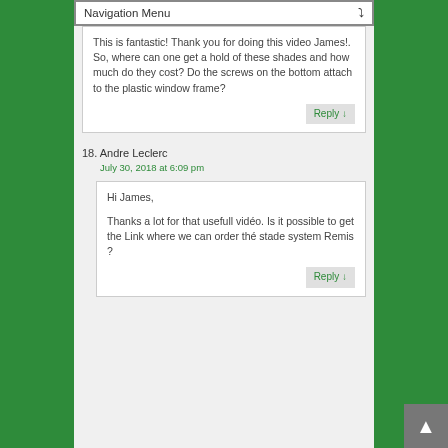Navigation Menu
This is fantastic! Thank you for doing this video James!. So, where can one get a hold of these shades and how much do they cost? Do the screws on the bottom attach to the plastic window frame?
Reply ↓
18. Andre Leclerc
July 30, 2018 at 6:09 pm
Hi James,

Thanks a lot for that usefull vidéo. Is it possible to get the Link where we can order thé stade system Remis ?
Reply ↓